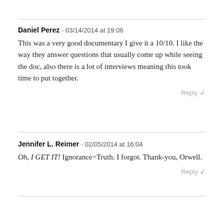Daniel Perez - 03/14/2014 at 19:06
This was a very good documentary I give it a 10/10. I like the way they answer questions that usually come up while seeing the doc, also there is a lot of interviews meaning this took time to put together.
Reply ↲
Jennifer L. Reimer - 02/05/2014 at 16:04
Oh, I GET IT! Ignorance=Truth. I forgot. Thank-you, Orwell.
Reply ↲